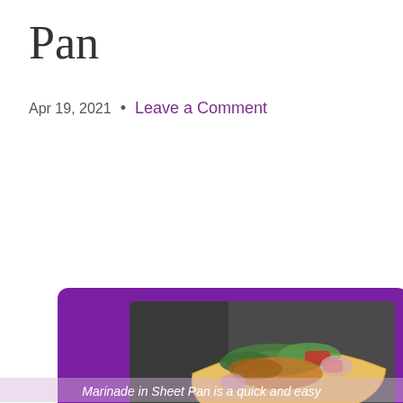Pan
Apr 19, 2021  •  Leave a Comment
[Figure (photo): Grilled chicken tacos with colorful toppings including cilantro, red peppers, radishes, and onion in flour tortillas, displayed on a purple background card with navigation buttons.]
Grilled Chicken Tacos with Cilantro Lime
Marinade in Sheet Pan is a quick and easy